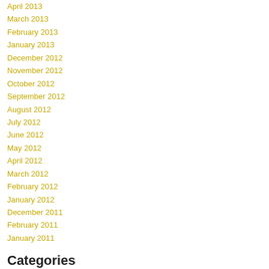April 2013
March 2013
February 2013
January 2013
December 2012
November 2012
October 2012
September 2012
August 2012
July 2012
June 2012
May 2012
April 2012
March 2012
February 2012
January 2012
December 2011
February 2011
January 2011
Categories
All